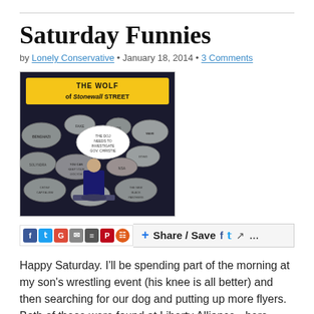Saturday Funnies
by Lonely Conservative • January 18, 2014 • 3 Comments
[Figure (illustration): Political cartoon titled 'The Wolf of Stonewall Street' depicting a figure at a podium surrounded by stones labeled with various scandals/issues]
[Figure (infographic): Social media sharing bar with Facebook, Twitter, Google+, email, print, Pinterest, ShareThis icons, and a Share/Save button with Facebook, Twitter, and share icons]
Happy Saturday. I'll be spending part of the morning at my son's wrestling event (his knee is all better) and then searching for our dog and putting up more flyers. Both of these were found at Liberty Alliance - here…